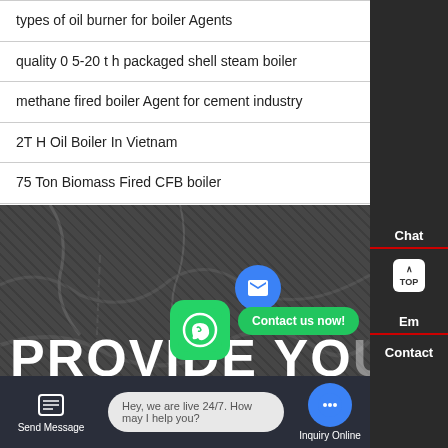types of oil burner for boiler Agents
quality 0 5-20 t h packaged shell steam boiler
methane fired boiler Agent for cement industry
2T H Oil Boiler In Vietnam
75 Ton Biomass Fired CFB boiler
[Figure (screenshot): Dark textured rocky background with large white bold text 'PROVIDE YO' visible, WhatsApp floating button with green icon, 'Contact us now!' green pill button, and a blue notification circle icon.]
Chat
Em
Contact
Send Message
Hey, we are live 24/7. How may I help you?
Inquiry Online